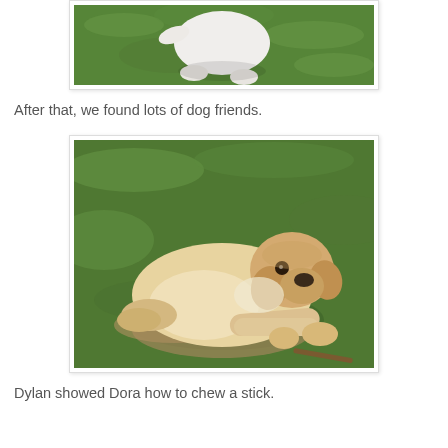[Figure (photo): Partial view of a white dog walking on green grass, seen from above, only the lower body and tail visible.]
After that, we found lots of dog friends.
[Figure (photo): A yellow/cream Labrador Retriever dog lying on green grass and dirt, looking at the camera.]
Dylan showed Dora how to chew a stick.